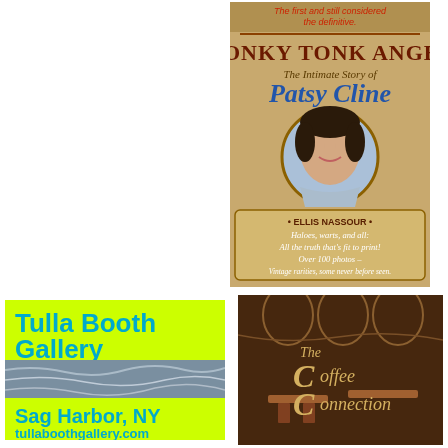[Figure (illustration): Book cover: Honky Tonk Angel - The Intimate Story of Patsy Cline by Ellis Nassour. Features title text, photo of Patsy Cline, and taglines about haloes, warts and all truth and vintage photos.]
[Figure (logo): Tulla Booth Gallery logo on lime green background with ocean photo strip. Text: Tulla Booth Gallery, Sag Harbor, NY, tullaboothgallery.com]
[Figure (illustration): The Coffee Connection logo/cover with illustrated cafe interior background in sepia/brown tones. Decorative letters with large C in Coffee and Connection.]